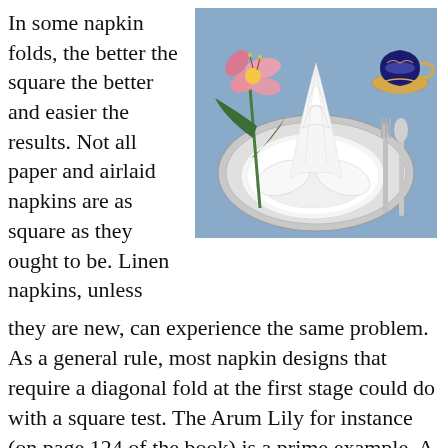In some napkin folds, the better the square the better and easier the results. Not all paper and airlaid napkins are as square as they ought to be. Linen napkins, unless they are new, can experience the same problem. As a general rule, most napkin designs that require a diagonal fold at the first stage could do with a square test. The Arum Lily for instance (on page 124 of the book) is a prime example. A similar test also applies to any design that, at the first stage of its construction, requires that the four points be brought
[Figure (photo): A white napkin folded elegantly into a tall flower-like shape, set on a white plate on a silver charger, with a pink lily flower and green leaves beside it, silverware (fork and spoon) to the right, and a decorative teacup and saucer in the background, all on a blue tablecloth.]